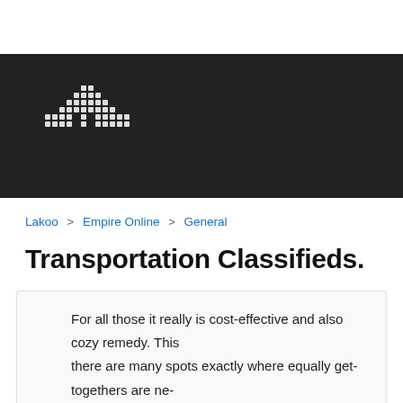[Figure (logo): Pixel/dot art logo on dark background header bar]
Lakoo > Empire Online > General
Transportation Classifieds.
For all those it really is cost-effective and also cozy remedy. This there are many spots exactly where equally get-togethers are ne- struck. This kind of actions in the substantial approach helps you well as cash.